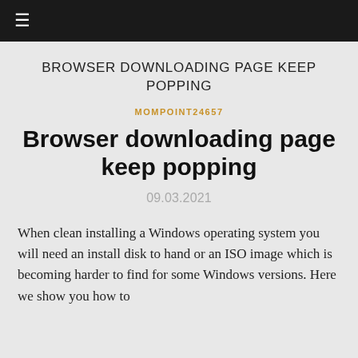≡
BROWSER DOWNLOADING PAGE KEEP POPPING
MOMPOINT24657
Browser downloading page keep popping
09.03.2021
When clean installing a Windows operating system you will need an install disk to hand or an ISO image which is becoming harder to find for some Windows versions. Here we show you how to